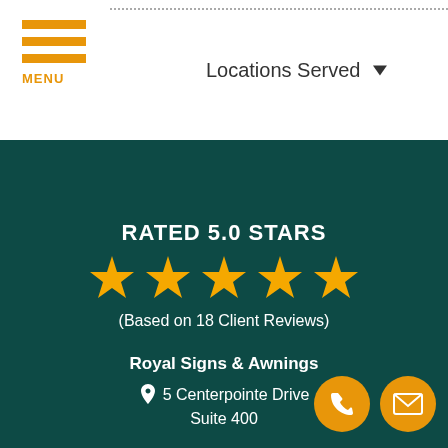Locations Served
RATED 5.0 STARS
[Figure (other): Five gold star rating icons]
(Based on 18 Client Reviews)
Royal Signs & Awnings
5 Centerpointe Drive
Suite 400